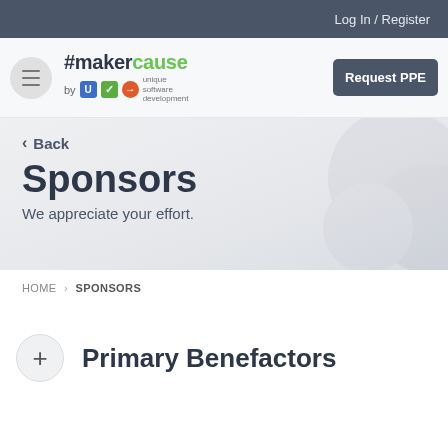Log In / Register
[Figure (logo): #makercause by USD (unique software development) logo with menu button and Request PPE button]
< Back
Sponsors
We appreciate your effort.
HOME > SPONSORS
Primary Benefactors